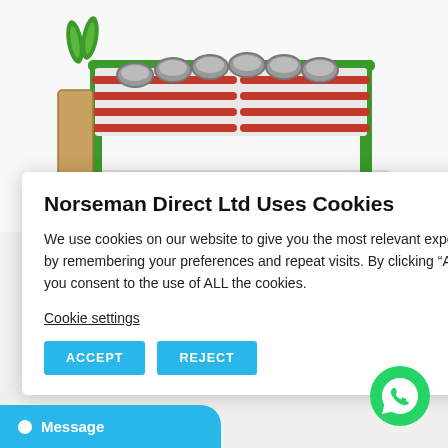[Figure (photo): A colorful children's school dinner trolley/cart with green and red metal frame, multiple stainless steel bowl inserts on top shelf, and wheels, photographed on white background.]
Norseman Direct Ltd Uses Cookies
We use cookies on our website to give you the most relevant experience by remembering your preferences and repeat visits. By clicking “Accept”, you consent to the use of ALL the cookies.
Cookie settings
ACCEPT
REJECT
3)
[Figure (logo): WhatsApp icon button - green circle with white phone/chat icon]
Message